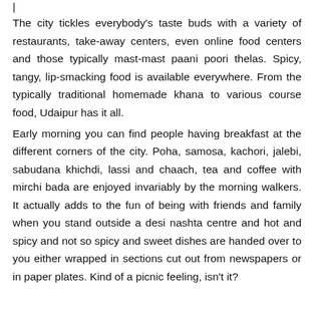The city tickles everybody's taste buds with a variety of restaurants, take-away centers, even online food centers and those typically mast-mast paani poori thelas. Spicy, tangy, lip-smacking food is available everywhere. From the typically traditional homemade khana to various course food, Udaipur has it all.
Early morning you can find people having breakfast at the different corners of the city. Poha, samosa, kachori, jalebi, sabudana khichdi, lassi and chaach, tea and coffee with mirchi bada are enjoyed invariably by the morning walkers. It actually adds to the fun of being with friends and family when you stand outside a desi nashta centre and hot and spicy and not so spicy and sweet dishes are handed over to you either wrapped in sections cut out from newspapers or in paper plates. Kind of a picnic feeling, isn't it?